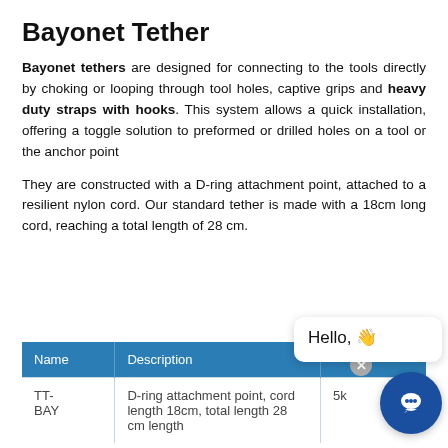Bayonet Tether
Bayonet tethers are designed for connecting to the tools directly by choking or looping through tool holes, captive grips and heavy duty straps with hooks. This system allows a quick installation, offering a toggle solution to preformed or drilled holes on a tool or the anchor point
They are constructed with a D-ring attachment point, attached to a resilient nylon cord. Our standard tether is made with a 18cm long cord, reaching a total length of 28 cm.
| Name | Description |
| --- | --- |
| TT-BAY | D-ring attachment point, cord length 18cm, total length 28 cm length |